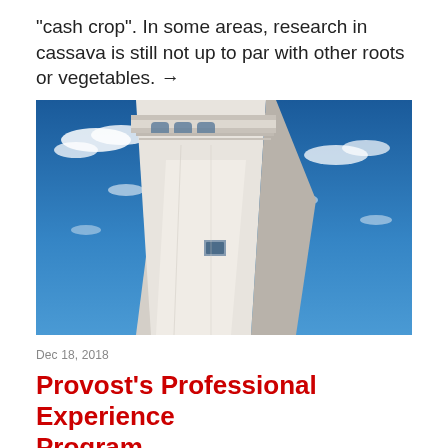"cash crop". In some areas, research in cassava is still not up to par with other roots or vegetables. →
[Figure (photo): Upward-angle photograph of a tall university bell tower (NC State belltower) against a bright blue sky with scattered white clouds. The tower is white/cream colored stone with ornate architectural details near the top including arched windows.]
Dec 18, 2018
Provost's Professional Experience Program